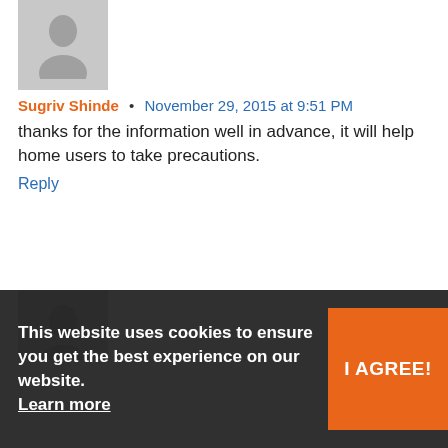[Figure (illustration): Gray placeholder avatar icon (silhouette of person) for first comment by Sugriv Shinde]
Sugriv Shinde • November 29, 2015 at 9:51 PM
thanks for the information well in advance, it will help home users to take precautions.
Reply
[Figure (illustration): Gray placeholder avatar icon (silhouette of person) for second comment by TIKENDRA SONWAN]
TIKENDRA SONWAN • November 29, 2015 at 10:41 PM
antivirus not working
Reply
[Figure (photo): Photo of a person with dark hair against a green background (third commenter's avatar)]
November 29, 2015 at 12:10 PM (partially obscured)
This website uses cookies to ensure you get the best experience on our website. Learn more
I AGREE!